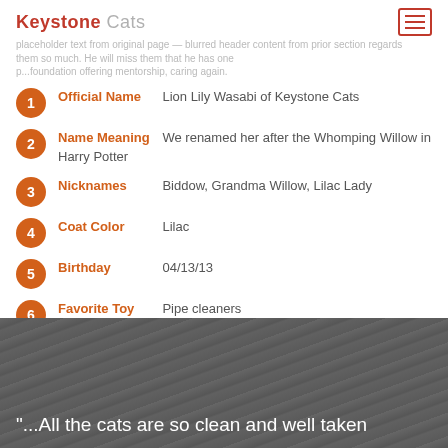Keystone Cats
...placeholder text from original page content...
Official Name: Lion Lily Wasabi of Keystone Cats
Name Meaning: We renamed her after the Whomping Willow in Harry Potter
Nicknames: Biddow, Grandma Willow, Lilac Lady
Coat Color: Lilac
Birthday: 04/13/13
Favorite Toy: Pipe cleaners
"...All the cats are so clean and well taken"